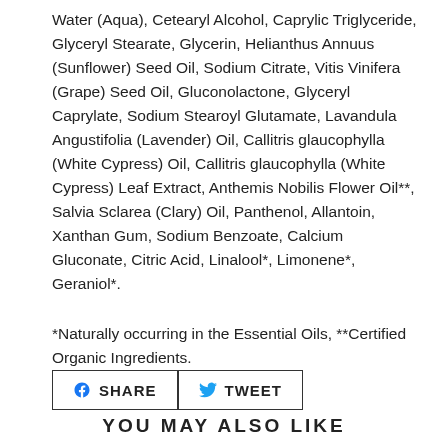Water (Aqua), Cetearyl Alcohol, Caprylic Triglyceride, Glyceryl Stearate, Glycerin, Helianthus Annuus (Sunflower) Seed Oil, Sodium Citrate, Vitis Vinifera (Grape) Seed Oil, Gluconolactone, Glyceryl Caprylate, Sodium Stearoyl Glutamate, Lavandula Angustifolia (Lavender) Oil, Callitris glaucophylla (White Cypress) Oil, Callitris glaucophylla (White Cypress) Leaf Extract, Anthemis Nobilis Flower Oil**, Salvia Sclarea (Clary) Oil, Panthenol, Allantoin, Xanthan Gum, Sodium Benzoate, Calcium Gluconate, Citric Acid, Linalool*, Limonene*, Geraniol*.
*Naturally occurring in the Essential Oils, **Certified Organic Ingredients.
[Figure (other): Share and Tweet social media buttons]
YOU MAY ALSO LIKE